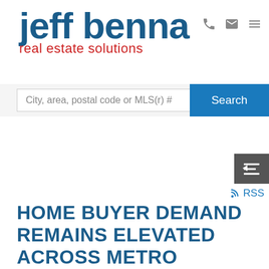[Figure (logo): Jeff Benna Real Estate Solutions logo with blue text 'jeff benna' and red text 'real estate solutions']
City, area, postal code or MLS(r) #
Search
[Figure (screenshot): RSS icon and sidebar tab button]
RSS
HOME BUYER DEMAND REMAINS ELEVATED ACROSS METRO VANCOUVER
Posted on February 2, 2021  by Jeff Benna (RE/MAX Real Estate Services)
[Figure (photo): Blurred green outdoor background photo at bottom of page]